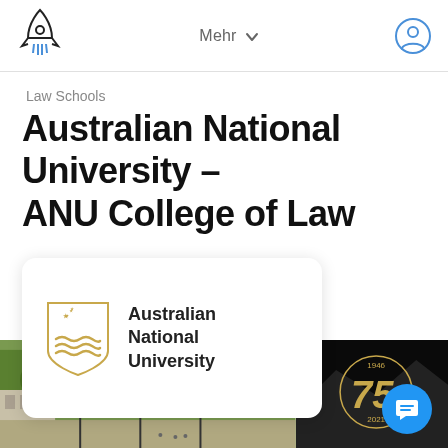Mehr
Law Schools
Australian National University - ANU College of Law
[Figure (logo): Australian National University logo card with ANU shield crest and text 'Australian National University']
[Figure (photo): Campus aerial photo of Australian National University with trees and buildings, alongside dark panel with gold '1946 75 2021' anniversary badge and blue chat button]